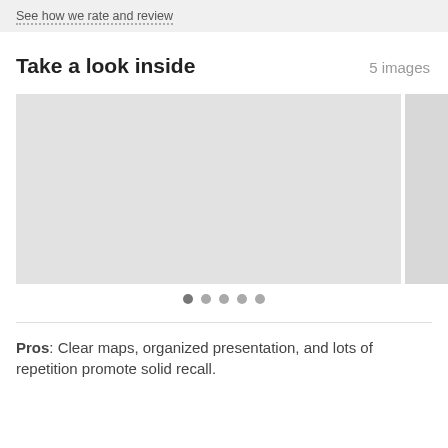See how we rate and review
Take a look inside
5 images
[Figure (photo): Image carousel showing a placeholder/blank light gray image as the main slide, with a partial second image visible on the right. Five dot navigation indicators below, the first dot filled/active.]
Pros: Clear maps, organized presentation, and lots of repetition promote solid recall.